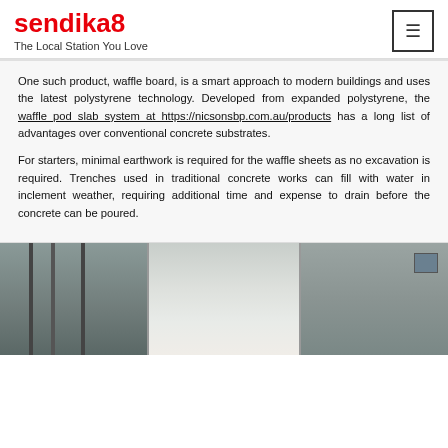sendika8 — The Local Station You Love
One such product, waffle board, is a smart approach to modern buildings and uses the latest polystyrene technology. Developed from expanded polystyrene, the waffle pod slab system at https://nicsonsbp.com.au/products has a long list of advantages over conventional concrete substrates.
For starters, minimal earthwork is required for the waffle sheets as no excavation is required. Trenches used in traditional concrete works can fill with water in inclement weather, requiring additional time and expense to drain before the concrete can be poured.
[Figure (photo): Photograph showing a building exterior with pipes, a white panel, and a window — related to construction/waffle pod slab system.]